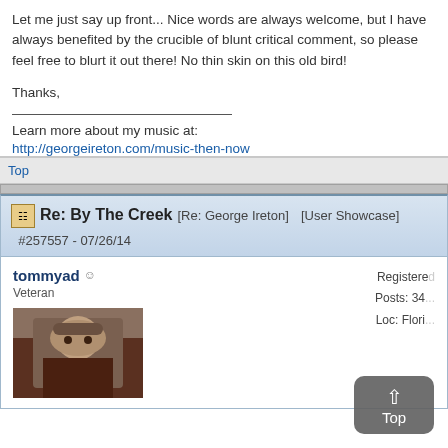Let me just say up front... Nice words are always welcome, but I have always benefited by the crucible of blunt critical comment, so please feel free to blurt it out there! No thin skin on this old bird!
Thanks,
Learn more about my music at:
http://georgeireton.com/music-then-now
Top
Re: By The Creek [Re: George Ireton] [User Showcase] #257557 - 07/26/14
tommyad
Veteran
Registere... Posts: 34... Loc: Flori...